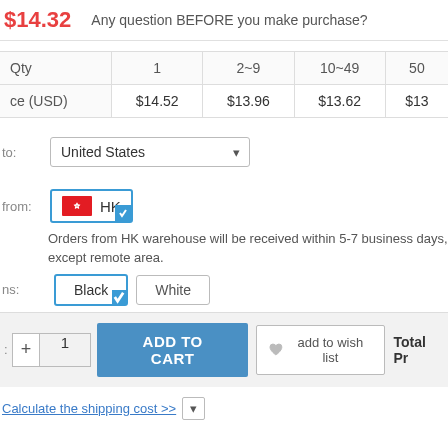$14.32  Any question BEFORE you make purchase?
| Qty | 1 | 2~9 | 10~49 | 50+ |
| --- | --- | --- | --- | --- |
| ce (USD) | $14.52 | $13.96 | $13.62 | $13... |
to: United States
[Figure (other): HK warehouse origin button with Hong Kong flag, selected with blue border and checkmark]
from: HK
ng: Orders from HK warehouse will be received within 5-7 business days, except remote area.
ns: Black  White
ADD TO CART   add to wish list   Total Pr
Calculate the shipping cost >>